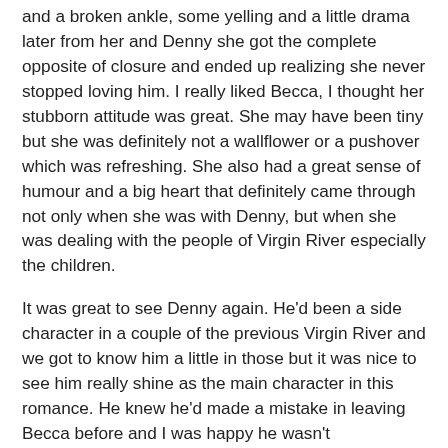and a broken ankle, some yelling and a little drama later from her and Denny she got the complete opposite of closure and ended up realizing she never stopped loving him. I really liked Becca, I thought her stubborn attitude was great. She may have been tiny but she was definitely not a wallflower or a pushover which was refreshing. She also had a great sense of humour and a big heart that definitely came through not only when she was with Denny, but when she was dealing with the people of Virgin River especially the children.
It was great to see Denny again. He'd been a side character in a couple of the previous Virgin River and we got to know him a little in those but it was nice to see him really shine as the main character in this romance. He knew he'd made a mistake in leaving Becca before and I was happy he wasn't hardheaded about coming around to that. He was so sweet and caring. He's one of those guys who would give you the shirt off his back literally if it meant that he could help. He was just so easy going I couldn't help but love him.
While their romance was a bit quick, due to Becca being